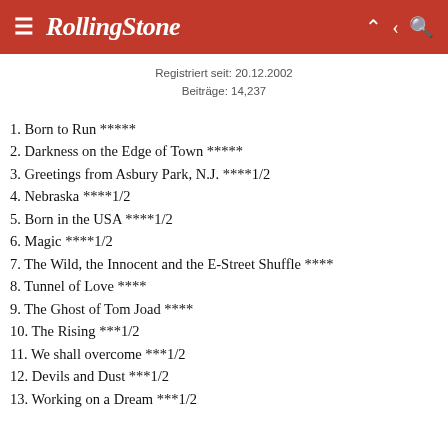Rolling Stone
Registriert seit: 20.12.2002
Beiträge: 14,237
1. Born to Run *****
2. Darkness on the Edge of Town *****
3. Greetings from Asbury Park, N.J. ****1/2
4. Nebraska ****1/2
5. Born in the USA ****1/2
6. Magic ****1/2
7. The Wild, the Innocent and the E-Street Shuffle ****
8. Tunnel of Love ****
9. The Ghost of Tom Joad ****
10. The Rising ***1/2
11. We shall overcome ***1/2
12. Devils and Dust ***1/2
13. Working on a Dream ***1/2